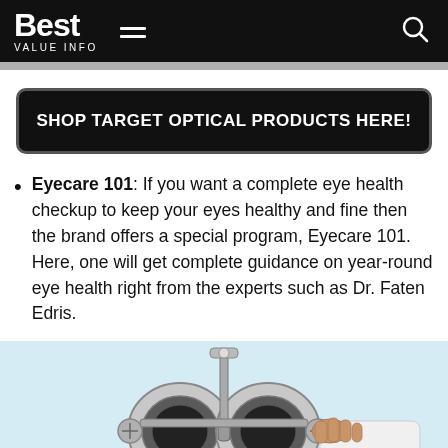Best VALUE INFO
SHOP TARGET OPTICAL PRODUCTS HERE!
Eyecare 101: If you want a complete eye health checkup to keep your eyes healthy and fine then the brand offers a special program, Eyecare 101. Here, one will get complete guidance on year-round eye health right from the experts such as Dr. Faten Edris.
[Figure (photo): An eye exam phoropter/refractor device with a doctor's hand visible, on a light blue background]